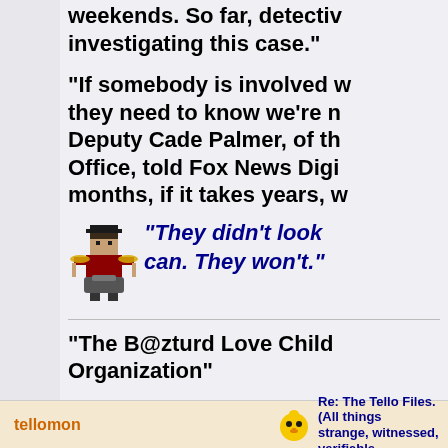weekends. So far, detectives investigating this case."
"If somebody is involved w... they need to know we're n... Deputy Cade Palmer, of th... Office, told Fox News Digi... months, if it takes years, w...
[Figure (illustration): Pixel art sprite of a drummer with cymbals]
"They didn't look can. They won't."
"The B@zturd Love Child... Organization"
tellomon
[Figure (illustration): Small yellow emoji/avatar icon]
Re: The Tello Files. (All things strange, witnessed, verifiable...